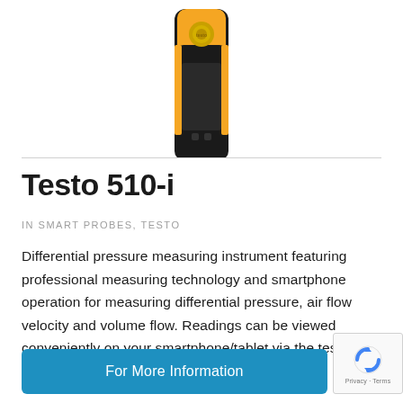[Figure (photo): Testo 510-i differential pressure measuring instrument — handheld device with orange and black body, shown from the top portion]
Testo 510-i
IN SMART PROBES, TESTO
Differential pressure measuring instrument featuring professional measuring technology and smartphone operation for measuring differential pressure, air flow velocity and volume flow. Readings can be viewed conveniently on your smartphone/tablet via the testo Smart Probes App and emailed directly
For More Information